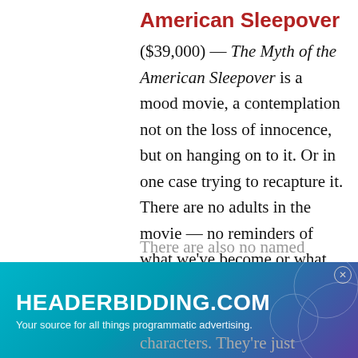American Sleepover
($39,000) — The Myth of the American Sleepover is a mood movie, a contemplation not on the loss of innocence, but on hanging on to it. Or in one case trying to recapture it. There are no adults in the movie — no reminders of what we've become or what we may soon be. There are also no named
characters. They're just
[Figure (other): HEADERBIDDING.COM advertisement banner. Text reads: 'HEADERBIDDING.COM' and 'Your source for all things programmatic advertising.']